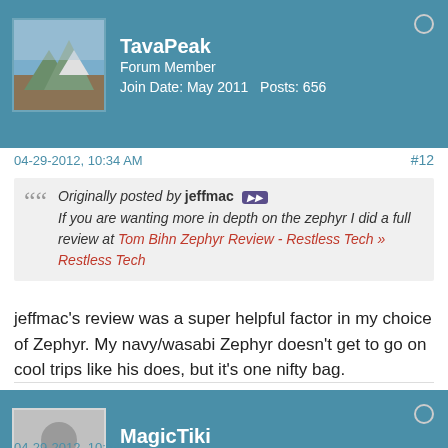TavaPeak
Forum Member
Join Date: May 2011  Posts: 656
04-29-2012, 10:34 AM   #12
Originally posted by jeffmac
If you are wanting more in depth on the zephyr I did a full review at Tom Bihn Zephyr Review - Restless Tech » Restless Tech
jeffmac's review was a super helpful factor in my choice of Zephyr. My navy/wasabi Zephyr doesn't get to go on cool trips like his does, but it's one nifty bag.
MagicTiki
Forum Member
Join Date: Aug 2008  Posts: 234
04-29-2012, 10:34 PM